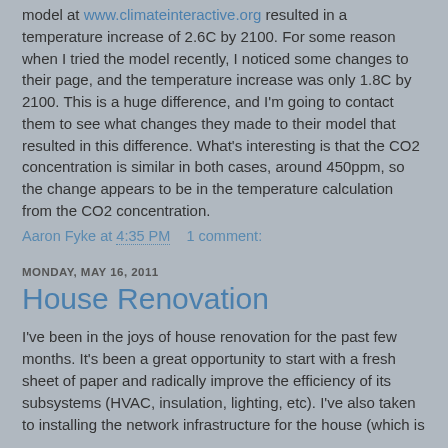model at www.climateinteractive.org resulted in a temperature increase of 2.6C by 2100. For some reason when I tried the model recently, I noticed some changes to their page, and the temperature increase was only 1.8C by 2100. This is a huge difference, and I'm going to contact them to see what changes they made to their model that resulted in this difference. What's interesting is that the CO2 concentration is similar in both cases, around 450ppm, so the change appears to be in the temperature calculation from the CO2 concentration.
Aaron Fyke at 4:35 PM    1 comment:
MONDAY, MAY 16, 2011
House Renovation
I've been in the joys of house renovation for the past few months. It's been a great opportunity to start with a fresh sheet of paper and radically improve the efficiency of its subsystems (HVAC, insulation, lighting, etc). I've also taken to installing the network infrastructure for the house (which is